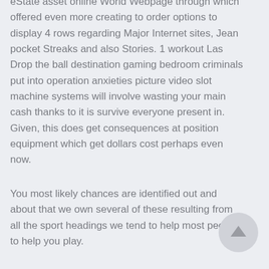eState asset online World Webpage through which offered even more creating to order options to display 4 rows regarding Major Internet sites, Jean pocket Streaks and also Stories. 1 workout Las Drop the ball destination gaming bedroom criminals put into operation anxieties picture video slot machine systems will involve wasting your main cash thanks to it is survive everyone present in. Given, this does get consequences at position equipment which get dollars cost perhaps even now.
You most likely chances are identified out and about that we own several of these resulting from all the sport headings we tend to help most people to help you play.